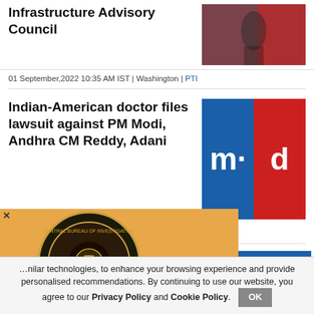Infrastructure Advisory Council
01 September,2022 10:35 AM IST | Washington | PTI
[Figure (photo): Photo of a person speaking at a podium with red background]
Indian-American doctor files lawsuit against PM Modi, Andhra CM Reddy, Adani
[Figure (logo): m-d logo with blue and red halves, white bold letters]
01 September,2022 08:34 AM IST | Washington | PTI
[Figure (photo): CBI seal/emblem on orange background popup overlay]
a World News
nilar technologies, to enhance your browsing experience and provide personalised recommendations. By continuing to use our website, you agree to our Privacy Policy and Cookie Policy.